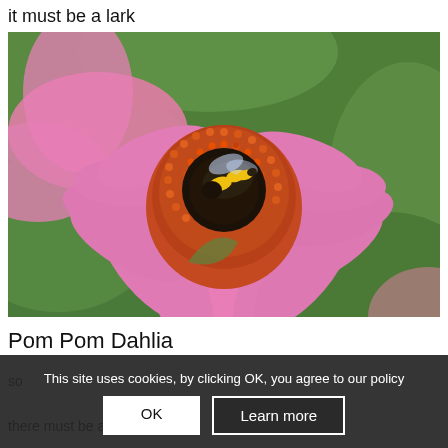it must be a lark
[Figure (photo): Close-up photo of a pink coneflower (echinacea) with an orange-brown spiky center, on which a bumblebee (yellow and black) is sitting. Green foliage in the background. Another partial pink flower visible on the left.]
Pom Pom Dahlia
so This site uses cookies, by clicking OK, you agree to our policy
there must be a G
OK    Learn more